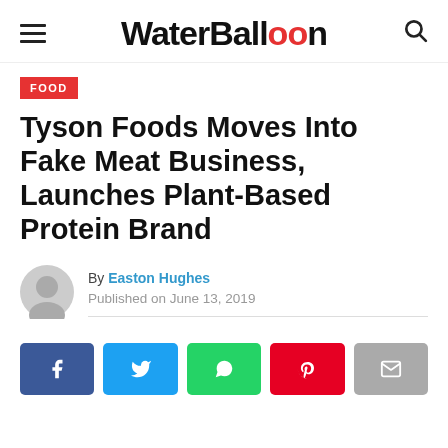WaterBalloon
FOOD
Tyson Foods Moves Into Fake Meat Business, Launches Plant-Based Protein Brand
By Easton Hughes
Published on June 13, 2019
[Figure (other): Social sharing buttons: Facebook, Twitter, WhatsApp, Pinterest, Email]